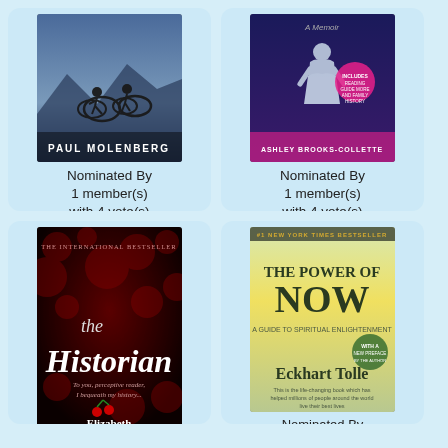[Figure (illustration): Book cover: cycling book by Paul Molenberg, two cyclists silhouetted against sky]
Nominated By 1 member(s) with 4 vote(s)
NOMINATE
[Figure (illustration): Book cover: memoir by Ashley Brooks-Collette, girl in white dress on dark background with pink circle badge]
Nominated By 1 member(s) with 4 vote(s)
NOMINATE
[Figure (illustration): Book cover: The Historian by Elizabeth Kostova, dark red with gothic lettering]
[Figure (illustration): Book cover: The Power of Now by Eckhart Tolle, light green/gold cover]
Nominated By 1 member(s)